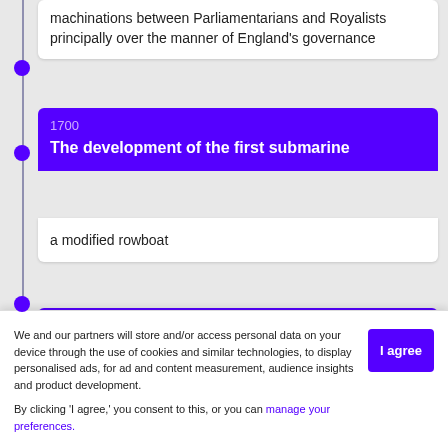machinations between Parliamentarians and Royalists principally over the manner of England's governance
1700
The development of the first submarine
a modified rowboat
Period: 1803 to 1815
We and our partners will store and/or access personal data on your device through the use of cookies and similar technologies, to display personalised ads, for ad and content measurement, audience insights and product development.

By clicking 'I agree,' you consent to this, or you can manage your preferences.